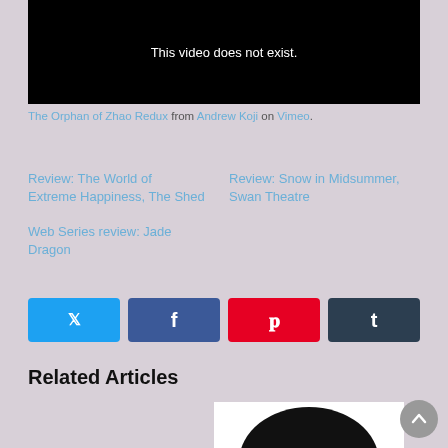[Figure (screenshot): Black video player area showing error message 'This video does not exist.']
The Orphan of Zhao Redux from Andrew Koji on Vimeo.
Review: The World of Extreme Happiness, The Shed
Review: Snow in Midsummer, Swan Theatre
Web Series review: Jade Dragon
[Figure (other): Social media share buttons: Twitter (blue), Facebook (blue), Pinterest (red), Tumblr (dark)]
Related Articles
[Figure (other): Related article thumbnail showing black semicircle on white background]